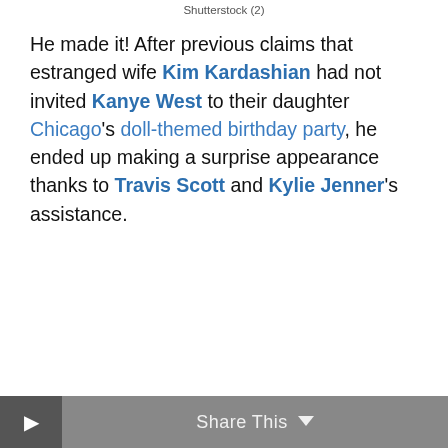Shutterstock (2)
He made it! After previous claims that estranged wife Kim Kardashian had not invited Kanye West to their daughter Chicago's doll-themed birthday party, he ended up making a surprise appearance thanks to Travis Scott and Kylie Jenner's assistance.
Share This